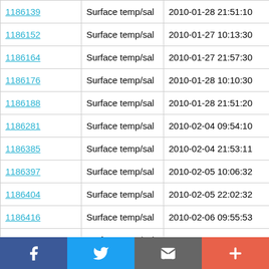| ID | Type | Date | Value |
| --- | --- | --- | --- |
| 1186139 | Surface temp/sal | 2010-01-28 21:51:10 | 53.329 ... |
| 1186152 | Surface temp/sal | 2010-01-27 10:13:30 | 53.336 ... |
| 1186164 | Surface temp/sal | 2010-01-27 21:57:30 | 53.328 ... |
| 1186176 | Surface temp/sal | 2010-01-28 10:10:30 | 53.336 ... |
| 1186188 | Surface temp/sal | 2010-01-28 21:51:20 | 53.328 ... |
| 1186281 | Surface temp/sal | 2010-02-04 09:54:10 | 53.337 ... |
| 1186385 | Surface temp/sal | 2010-02-04 21:53:11 | 53.33 N |
| 1186397 | Surface temp/sal | 2010-02-05 10:06:32 | 53.337 ... |
| 1186404 | Surface temp/sal | 2010-02-05 22:02:32 | 53.329 ... |
| 1186416 | Surface temp/sal | 2010-02-06 09:55:53 | 53.337 ... |
| 1186428 | Surface temp/sal | 2010-02-06 21:46:23 | 53.33 N |